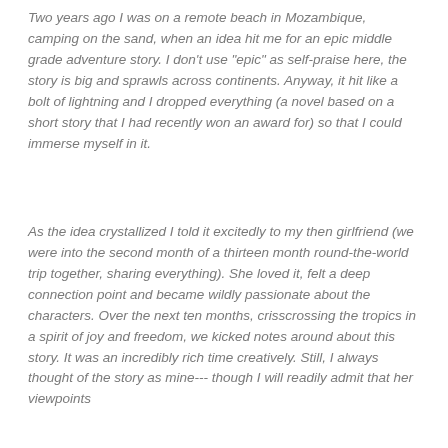Two years ago I was on a remote beach in Mozambique, camping on the sand, when an idea hit me for an epic middle grade adventure story. I don't use "epic" as self-praise here, the story is big and sprawls across continents. Anyway, it hit like a bolt of lightning and I dropped everything (a novel based on a short story that I had recently won an award for) so that I could immerse myself in it.
As the idea crystallized I told it excitedly to my then girlfriend (we were into the second month of a thirteen month round-the-world trip together, sharing everything). She loved it, felt a deep connection point and became wildly passionate about the characters. Over the next ten months, crisscrossing the tropics in a spirit of joy and freedom, we kicked notes around about this story. It was an incredibly rich time creatively. Still, I always thought of the story as mine--- though I will readily admit that her viewpoints